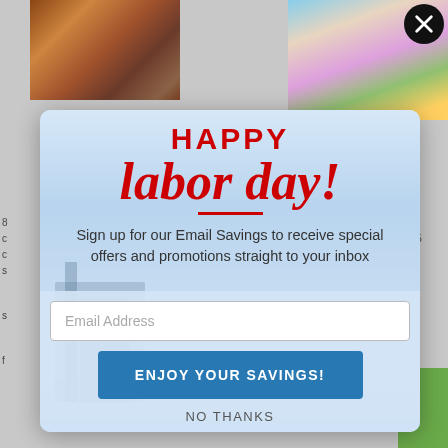[Figure (screenshot): Background webpage with images of textured surfaces and a person, partially obscured by a modal popup overlay]
HAPPY labor day!
Sign up for our Email Savings to receive special offers and promotions straight to your inbox
Email Address
ENJOY YOUR SAVINGS!
NO THANKS